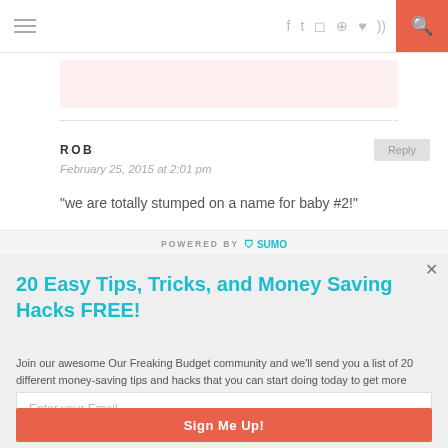≡  f  t  ☷  ⊕  ♥  ⊃  🔍
ROB
February 25, 2015 at 2:01 pm
"we are totally stumped on a name for baby #2!"
20 Easy Tips, Tricks, and Money Saving Hacks FREE!
Join our awesome Our Freaking Budget community and we'll send you a list of 20 different money-saving tips and hacks that you can start doing today to get more bang out of your budget.
Enter your Email
Sign Me Up!